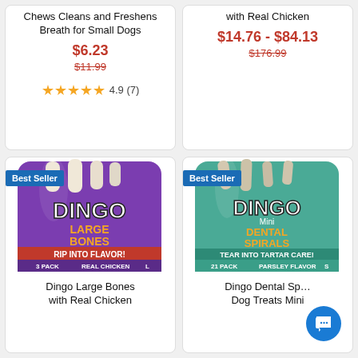Chews Cleans and Freshens Breath for Small Dogs
$6.23
$11.99 (strikethrough)
4.9 (7) stars
with Real Chicken
$14.76 - $84.13
$176.99 (strikethrough)
[Figure (photo): Dingo Large Bones with Real Chicken purple bag, 3-pack, Best Seller badge]
Dingo Large Bones with Real Chicken
[Figure (photo): Dingo Dental Spirals Mini Dog Treats, teal bag, 21-pack, Best Seller badge]
Dingo Dental Spirals Dog Treats Mini